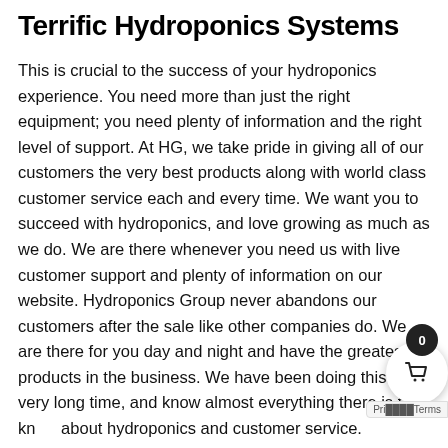Terrific Hydroponics Systems
This is crucial to the success of your hydroponics experience. You need more than just the right equipment; you need plenty of information and the right level of support. At HG, we take pride in giving all of our customers the very best products along with world class customer service each and every time. We want you to succeed with hydroponics, and love growing as much as we do. We are there whenever you need us with live customer support and plenty of information on our website. Hydroponics Group never abandons our customers after the sale like other companies do. We are there for you day and night and have the greatest products in the business. We have been doing this for a very long time, and know almost everything there is to know about hydroponics and customer service.
Growing your own fruits and veggies and medicine from